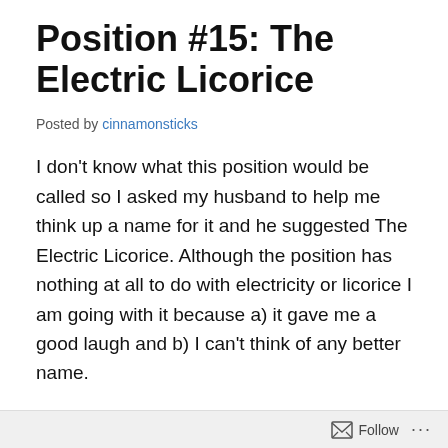Position #15: The Electric Licorice
Posted by cinnamonsticks
I don't know what this position would be called so I asked my husband to help me think up a name for it and he suggested The Electric Licorice. Although the position has nothing at all to do with electricity or licorice I am going with it because a) it gave me a good laugh and b) I can't think of any better name.
This is a good position if you and your husband like to experience an orgasm while standing up, but he doesn't have the energy or strength to carry your weight in his arms while his mind is like jello from an O. This allows you to both be vertical, but the wife is actually being supported
Follow ...